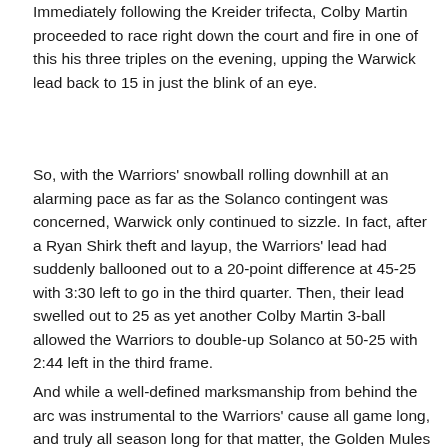Immediately following the Kreider trifecta, Colby Martin proceeded to race right down the court and fire in one of this his three triples on the evening, upping the Warwick lead back to 15 in just the blink of an eye.
So, with the Warriors' snowball rolling downhill at an alarming pace as far as the Solanco contingent was concerned, Warwick only continued to sizzle. In fact, after a Ryan Shirk theft and layup, the Warriors' lead had suddenly ballooned out to a 20-point difference at 45-25 with 3:30 left to go in the third quarter. Then, their lead swelled out to 25 as yet another Colby Martin 3-ball allowed the Warriors to double-up Solanco at 50-25 with 2:44 left in the third frame.
And while a well-defined marksmanship from behind the arc was instrumental to the Warriors' cause all game long, and truly all season long for that matter, the Golden Mules proved to pick up one of the greatest wins and one of...